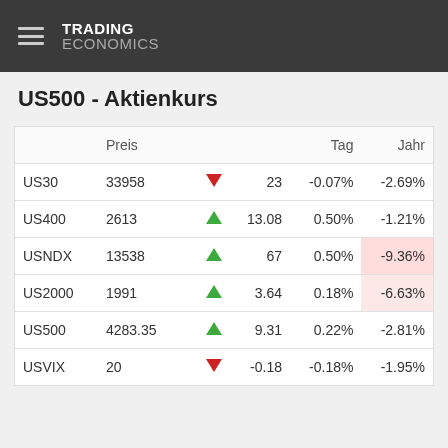TRADING ECONOMICS
US500 - Aktienkurs
|  | Preis |  |  | Tag | Jahr |
| --- | --- | --- | --- | --- | --- |
| US30 | 33958 | ▼ | 23 | -0.07% | -2.69% |
| US400 | 2613 | ▲ | 13.08 | 0.50% | -1.21% |
| USNDX | 13538 | ▲ | 67 | 0.50% | -9.36% |
| US2000 | 1991 | ▲ | 3.64 | 0.18% | -6.63% |
| US500 | 4283.35 | ▲ | 9.31 | 0.22% | -2.81% |
| USVIX | 20 | ▼ | -0.18 | -0.18% | -1.95% |